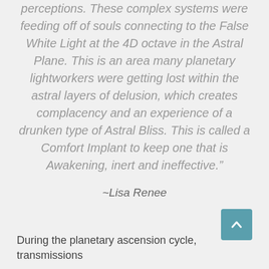perceptions. These complex systems were feeding off of souls connecting to the False White Light at the 4D octave in the Astral Plane. This is an area many planetary lightworkers were getting lost within the astral layers of delusion, which creates complacency and an experience of a drunken type of Astral Bliss. This is called a Comfort Implant to keep one that is Awakening, inert and ineffective.”
~Lisa Renee
During the planetary ascension cycle, transmissions